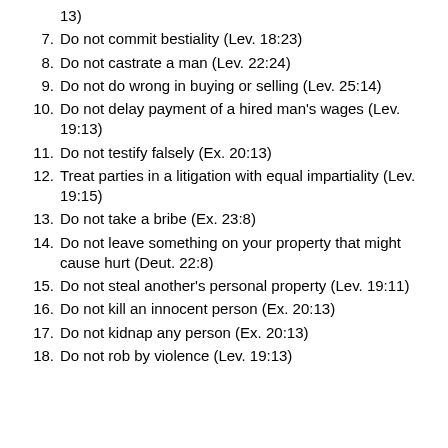13)
7. Do not commit bestiality (Lev. 18:23)
8. Do not castrate a man (Lev. 22:24)
9. Do not do wrong in buying or selling (Lev. 25:14)
10. Do not delay payment of a hired man's wages (Lev. 19:13)
11. Do not testify falsely (Ex. 20:13)
12. Treat parties in a litigation with equal impartiality (Lev. 19:15)
13. Do not take a bribe (Ex. 23:8)
14. Do not leave something on your property that might cause hurt (Deut. 22:8)
15. Do not steal another's personal property (Lev. 19:11)
16. Do not kill an innocent person (Ex. 20:13)
17. Do not kidnap any person (Ex. 20:13)
18. Do not rob by violence (Lev. 19:13)